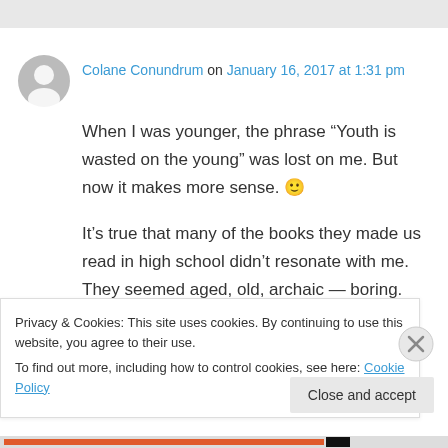Colane Conundrum on January 16, 2017 at 1:31 pm
When I was younger, the phrase “Youth is wasted on the young” was lost on me. But now it makes more sense. 🙂
It’s true that many of the books they made us read in high school didn’t resonate with me. They seemed aged, old, archaic — boring. But I’ve re-read a few. and I realize now how much
Privacy & Cookies: This site uses cookies. By continuing to use this website, you agree to their use.
To find out more, including how to control cookies, see here: Cookie Policy
Close and accept